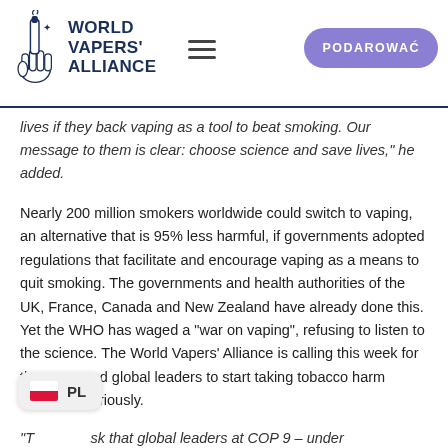World Vapers' Alliance — PODAROWAĆ
lives if they back vaping as a tool to beat smoking. Our message to them is clear: choose science and save lives," he added.
Nearly 200 million smokers worldwide could switch to vaping, an alternative that is 95% less harmful, if governments adopted regulations that facilitate and encourage vaping as a means to quit smoking. The governments and health authorities of the UK, France, Canada and New Zealand have already done this. Yet the WHO has waged a "war on vaping", refusing to listen to the science. The World Vapers' Alliance is calling this week for the WHO and global leaders to start taking tobacco harm reduction seriously.
"T[PL badge]sk that global leaders at COP 9 – under